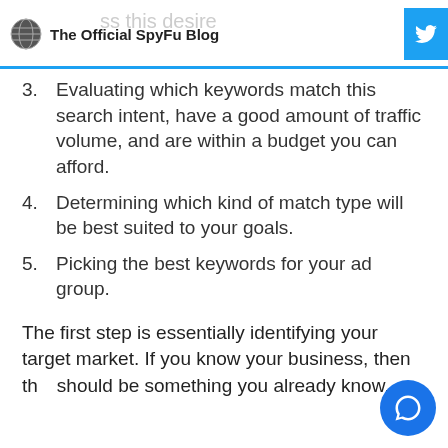The Official SpyFu Blog
3. Evaluating which keywords match this search intent, have a good amount of traffic volume, and are within a budget you can afford.
4. Determining which kind of match type will be best suited to your goals.
5. Picking the best keywords for your ad group.
The first step is essentially identifying your target market. If you know your business, then this should be something you already know.